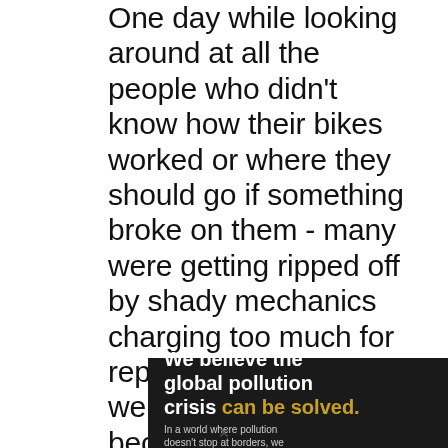One day while looking around at all the people who didn't know how their bikes worked or where they should go if something broke on them - many were getting ripped off by shady mechanics charging too much for repairs that really weren't necessary- it became clear what needed to be done! So here at VolataCycles, I help you to keep your bike in great condition, and to show you that cycling can be fun, practical, and affordable - all at the
[Figure (infographic): Pure Earth advertisement banner. Dark background with white bold text 'We believe the global pollution crisis' followed by yellow text 'can be solved.' Right side has small text 'In a world where pollution doesn't stop at borders, we can all be part of the solution.' and yellow bold text 'JOIN US.' Adjacent white panel shows Pure Earth logo with diamond/leaf icon in gold/green and bold black text 'PURE EARTH'.]
×